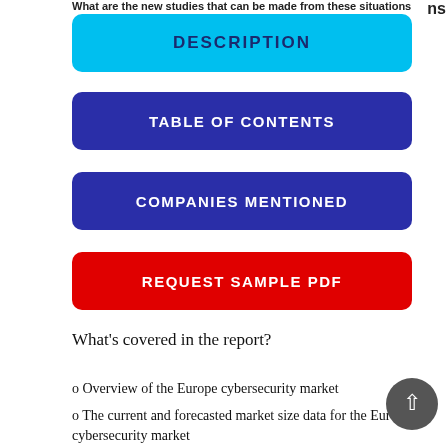DESCRIPTION
TABLE OF CONTENTS
COMPANIES MENTIONED
REQUEST SAMPLE PDF
What's covered in the report?
o Overview of the Europe cybersecurity market
o The current and forecasted market size data for the Europe cybersecurity market
o The current and forecasted market size data for the segments of the market, by end user industries -financial services, telecommunication, healthcare, public sector,